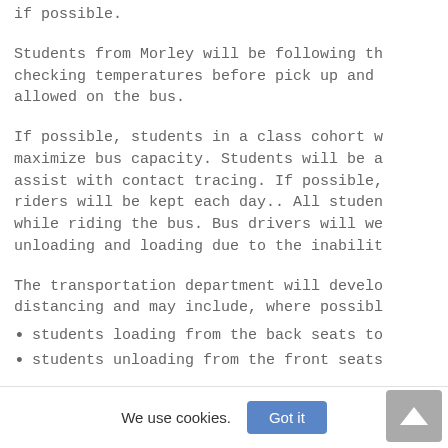if possible.
Students from Morley will be following th checking temperatures before pick up and allowed on the bus.
If possible, students in a class cohort w maximize bus capacity. Students will be a assist with contact tracing. If possible, riders will be kept each day.. All studen while riding the bus. Bus drivers will we unloading and loading due to the inabilit
The transportation department will develo distancing and may include, where possibl
students loading from the back seats to
students unloading from the front seats
We use cookies.
Got it